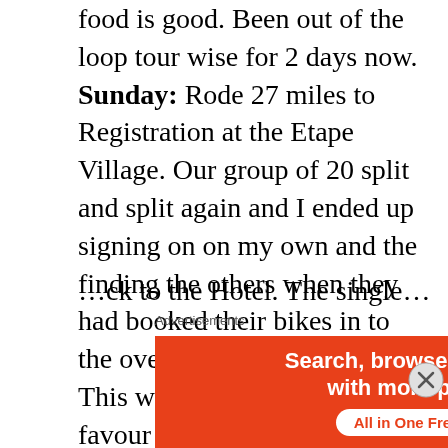food is good. Been out of the loop tour wise for 2 days now. Sunday: Rode 27 miles to Registration at the Etape Village. Our group of 20 split and split again and I ended up signing on on my own and the finding the others when they had booked their bikes in to the overnight bike storage. This was later abandoned in favour of returning to the Hotel with the bikes in the trailer and taking them to the start. If we get caught in a jam, just unload the trailer and ride to the start. Weather was scorching and is going to be a problem on the day.
[truncated line]
Advertisements
[Figure (other): DuckDuckGo advertisement banner with orange left section reading 'Search, browse, and email with more privacy. All in One Free App' and dark right section with DuckDuckGo logo and name]